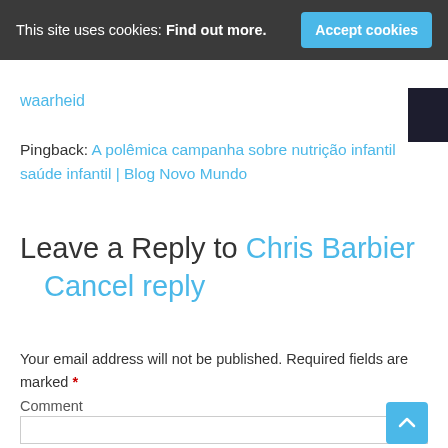This site uses cookies: Find out more. Accept cookies
waarheid
Pingback: A polêmica campanha sobre nutrição infantil saúde infantil | Blog Novo Mundo
Leave a Reply to Chris Barbier Cancel reply
Your email address will not be published. Required fields are marked *
Comment